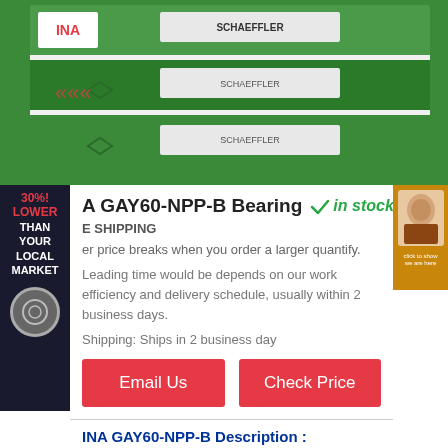[Figure (photo): Stacked green and white INA/Schaeffler bearing product boxes]
INA GAY60-NPP-B Bearing ✓in stock
FREE SHIPPING
Offer price breaks when you order a larger quantify.
Leading time would be depends on our work efficiency and delivery schedule, usually within 2 business days.
Shipping: Ships in 2 business day
Email Us
Check Price
INA GAY60-NPP-B Description :